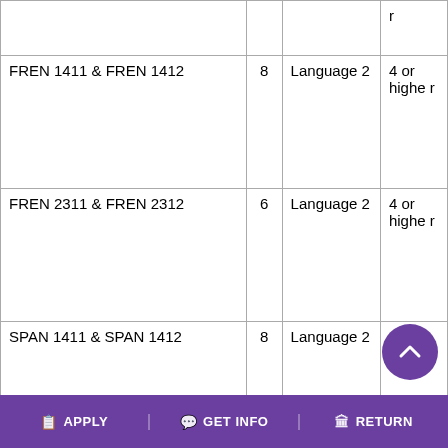| Course | Hours | Placement Test | Score |
| --- | --- | --- | --- |
|  |  |  | ...r |
| FREN 1411 & FREN 1412 | 8 | Language 2 | 4 or higher |
| FREN 2311 & FREN 2312 | 6 | Language 2 | 4 or higher |
| SPAN 1411 & SPAN 1412 | 8 | Language 2 | 4 or higher |
| SPAN 2311 & SPAN 2312 | 6 | Language 2 | 4 or higher |
|  |  |  |  |
| COSC 1301 | 3 | Math and Computer | 4 or higher |
APPLY   GET INFO   RETURN